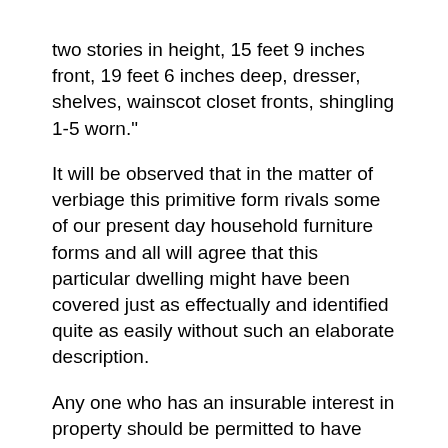two stories in height, 15 feet 9 inches front, 19 feet 6 inches deep, dresser, shelves, wainscot closet fronts, shingling 1-5 worn."
It will be observed that in the matter of verbiage this primitive form rivals some of our present day household furniture forms and all will agree that this particular dwelling might have been covered just as effectually and identified quite as easily without such an elaborate description.
Any one who has an insurable interest in property should be permitted to have any form of contract that he is willing to pay for, provided it is not contrary to law or against public policy, and judging from a contract of insurance issued by a certain office not long ago the insuring public apparently has no difficulty in securing any kind of a policy it may desire at any price it may be willing to pay. The contract in ques¬ tion was one for £20,000, covering stock against loss from any cause, except theft on